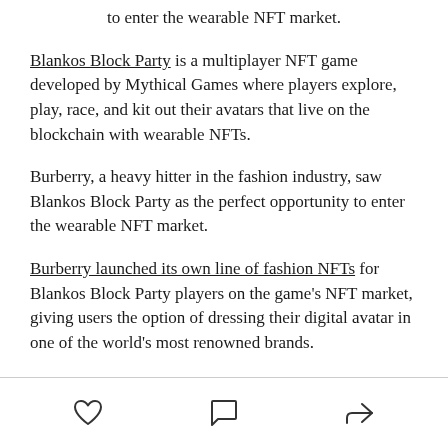to enter the wearable NFT market.
Blankos Block Party is a multiplayer NFT game developed by Mythical Games where players explore, play, race, and kit out their avatars that live on the blockchain with wearable NFTs.
Burberry, a heavy hitter in the fashion industry, saw Blankos Block Party as the perfect opportunity to enter the wearable NFT market.
Burberry launched its own line of fashion NFTs for Blankos Block Party players on the game's NFT market, giving users the option of dressing their digital avatar in one of the world's most renowned brands.
[heart icon] [comment icon] [share icon]